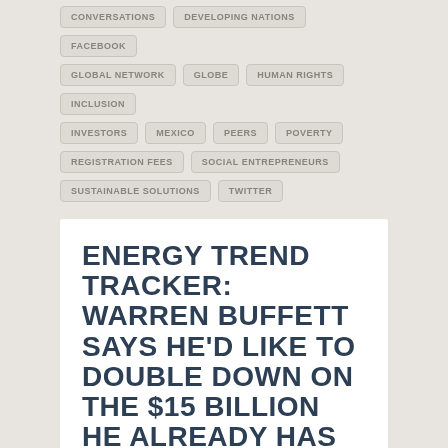CONVERSATIONS
DEVELOPING NATIONS
FACEBOOK
GLOBAL NETWORK
GLOBE
HUMAN RIGHTS
INCLUSION
INVESTORS
MEXICO
PEERS
POVERTY
REGISTRATION FEES
SOCIAL ENTREPRENEURS
SUSTAINABLE SOLUTIONS
TWITTER
ENERGY TREND TRACKER: WARREN BUFFETT SAYS HE'D LIKE TO DOUBLE DOWN ON THE $15 BILLION HE ALREADY HAS INVESTED IN CLEAN ENERGY.
JUNE 30, 2014